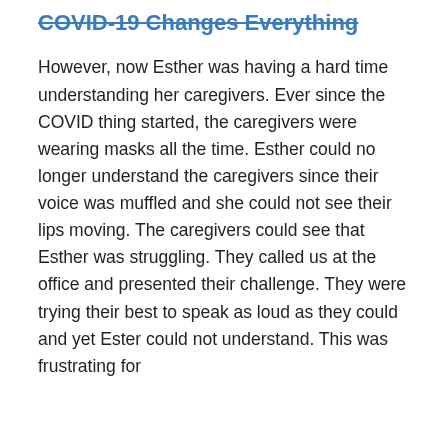COVID-19 Changes Everything
However, now Esther was having a hard time understanding her caregivers. Ever since the COVID thing started, the caregivers were wearing masks all the time. Esther could no longer understand the caregivers since their voice was muffled and she could not see their lips moving. The caregivers could see that Esther was struggling. They called us at the office and presented their challenge. They were trying their best to speak as loud as they could and yet Ester could not understand. This was frustrating for